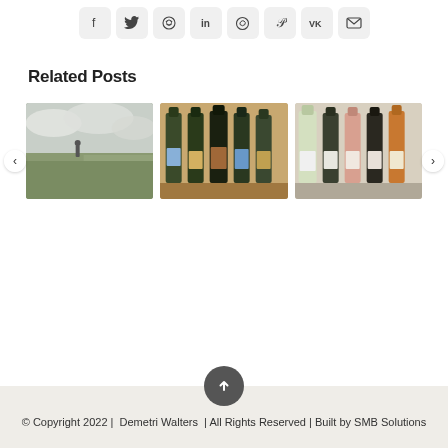[Figure (infographic): Row of social media share buttons: Facebook, Twitter, Reddit, LinkedIn, WhatsApp, Pinterest, VK, Email]
Related Posts
[Figure (photo): Person standing on a hillside with cloudy sky and landscape in background (grayscale/muted)]
[Figure (photo): Five wine bottles with colorful illustrated labels lined up on a wooden surface]
[Figure (photo): Five wine bottles in a row: white, dark, pink/rose, dark, dark, with white labels]
© Copyright 2022 |  Demetri Walters  | All Rights Reserved | Built by SMB Solutions